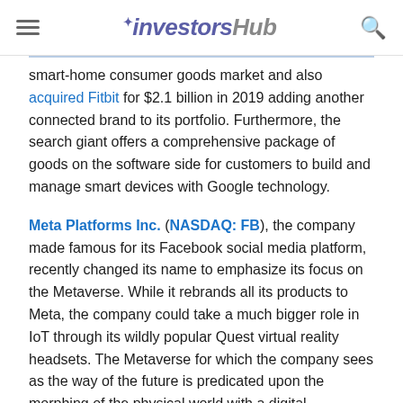investorshub
smart-home consumer goods market and also acquired Fitbit for $2.1 billion in 2019 adding another connected brand to its portfolio. Furthermore, the search giant offers a comprehensive package of goods on the software side for customers to build and manage smart devices with Google technology.
Meta Platforms Inc. (NASDAQ: FB), the company made famous for its Facebook social media platform, recently changed its name to emphasize its focus on the Metaverse. While it rebrands all its products to Meta, the company could take a much bigger role in IoT through its wildly popular Quest virtual reality headsets. The Metaverse for which the company sees as the way of the future is predicated upon the morphing of the physical world with a digital representation, which, almost certainly,